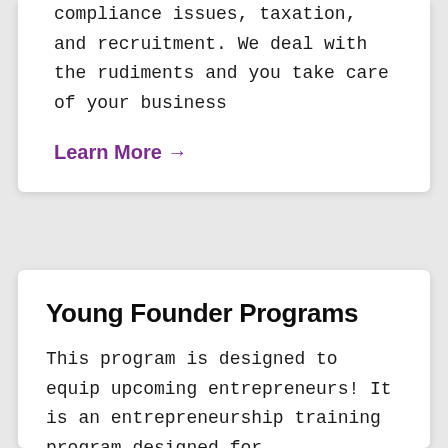compliance issues, taxation, and recruitment. We deal with the rudiments and you take care of your business
Learn More →
Young Founder Programs
This program is designed to equip upcoming entrepreneurs! It is an entrepreneurship training program designed for Universities and individuals who want to be prepare